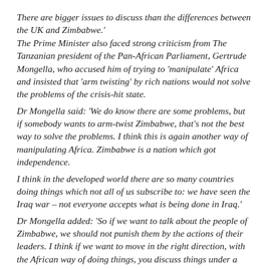There are bigger issues to discuss than the differences between the UK and Zimbabwe.'
The Prime Minister also faced strong criticism from The Tanzanian president of the Pan-African Parliament, Gertrude Mongella, who accused him of trying to 'manipulate' Africa and insisted that 'arm twisting' by rich nations would not solve the problems of the crisis-hit state.
Dr Mongella said: 'We do know there are some problems, but if somebody wants to arm-twist Zimbabwe, that's not the best way to solve the problems. I think this is again another way of manipulating Africa. Zimbabwe is a nation which got independence.
I think in the developed world there are so many countries doing things which not all of us subscribe to: we have seen the Iraq war – not everyone accepts what is being done in Iraq.'
Dr Mongella added: 'So if we want to talk about the people of Zimbabwe, we should not punish them by the actions of their leaders. I think if we want to move in the right direction, with the African way of doing things, you discuss things under a tree